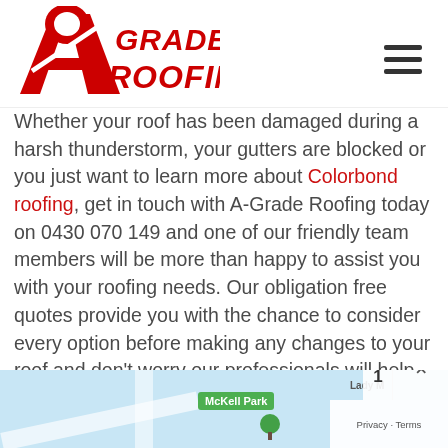[Figure (logo): A-Grade Roofing logo in red with stylized letter A and italic text GRADE ROOFING]
Whether your roof has been damaged during a harsh thunderstorm, your gutters are blocked or you just want to learn more about Colorbond roofing, get in touch with A-Grade Roofing today on 0430 070 149 and one of our friendly team members will be more than happy to assist you with your roofing needs. Our obligation free quotes provide you with the chance to consider every option before making any changes to your roof and don't worry our professionals will help you every step of the way.
[Figure (map): Google Maps view showing McKell Park area with green tree marker]